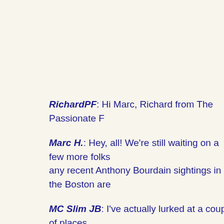RichardPF: Hi Marc, Richard from The Passionate F
Marc H.: Hey, all! We're still waiting on a few more folks any recent Anthony Bourdain sightings in the Boston are
MC Slim JB: I've actually lurked at a couple of places show, but no dice.
Marc H.: It looked like he may have been at Rondo's in for his live feed, and he was definitely at The Galley in S
NorthShoreDish: Is it just me, or was he looking a ta cardigan yesterday?
Marc H.: Heh, you aren't the first person to say that.
Lingbo Li: Hi guys